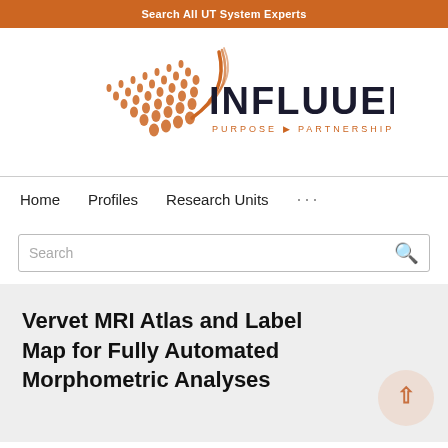Search All UT System Experts
[Figure (logo): Influuent logo with orange geometric triangle/dot pattern and text INFLUUENT PURPOSE PARTNERSHIP PROGRESS]
Home   Profiles   Research Units   ...
Search
Vervet MRI Atlas and Label Map for Fully Automated Morphometric Analyses